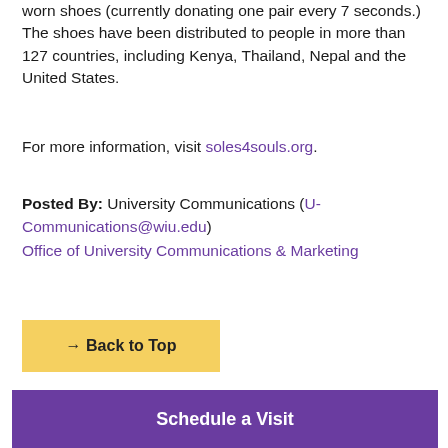worn shoes (currently donating one pair every 7 seconds.) The shoes have been distributed to people in more than 127 countries, including Kenya, Thailand, Nepal and the United States.
For more information, visit soles4souls.org.
Posted By: University Communications (U-Communications@wiu.edu)
Office of University Communications & Marketing
→ Back to Top
Schedule a Visit
Request Information